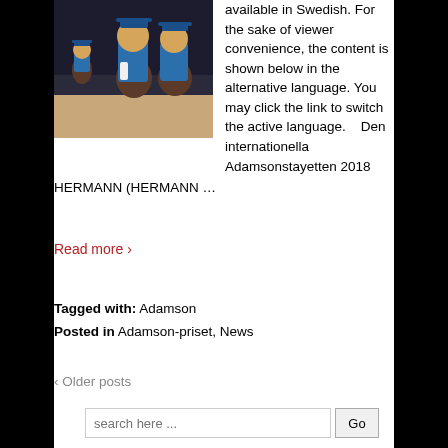[Figure (photo): Clay figurines dressed in blue graduation gowns and caps, resembling cartoon-style characters, displayed on a table with a dark stage background.]
available in Swedish. For the sake of viewer convenience, the content is shown below in the alternative language. You may click the link to switch the active language.    Den internationella Adamsonstayetten 2018 HERMANN (HERMANN …
Read more ›
Tagged with: Adamson
Posted in Adamson-priset, News
‹ Older posts
search here ...